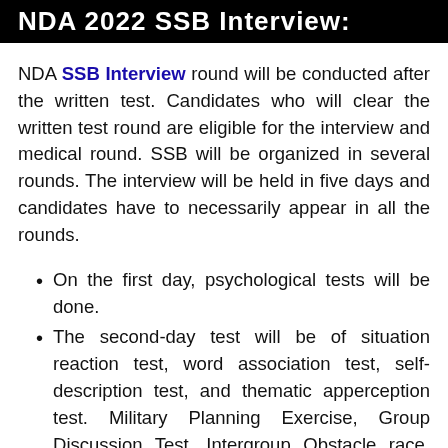NDA 2022 SSB Interview:
NDA SSB Interview round will be conducted after the written test. Candidates who will clear the written test round are eligible for the interview and medical round. SSB will be organized in several rounds. The interview will be held in five days and candidates have to necessarily appear in all the rounds.
On the first day, psychological tests will be done.
The second-day test will be of situation reaction test, word association test, self-description test, and thematic apperception test. Military Planning Exercise, Group Discussion Test, Intergroup Obstacle race, Lecturettes, Snake Race, Progressive Group Task: